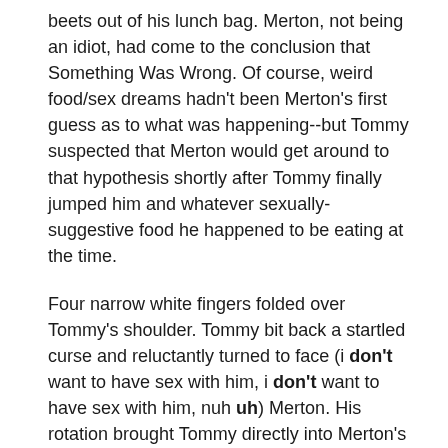beets out of his lunch bag. Merton, not being an idiot, had come to the conclusion that Something Was Wrong. Of course, weird food/sex dreams hadn't been Merton's first guess as to what was happening--but Tommy suspected that Merton would get around to that hypothesis shortly after Tommy finally jumped him and whatever sexually-suggestive food he happened to be eating at the time.

Four narrow white fingers folded over Tommy's shoulder. Tommy bit back a startled curse and reluctantly turned to face (i don't want to have sex with him, i don't want to have sex with him, nuh uh) Merton. His rotation brought Tommy directly into Merton's personal space and suddenly they were standing so close that Tommy could feel Merton's chest rise with every breath he took. Tommy's eyes darted around nervously--did he always stand this close to Merton? Had anyone noticed? Oh, God! had Stacey?.. and took